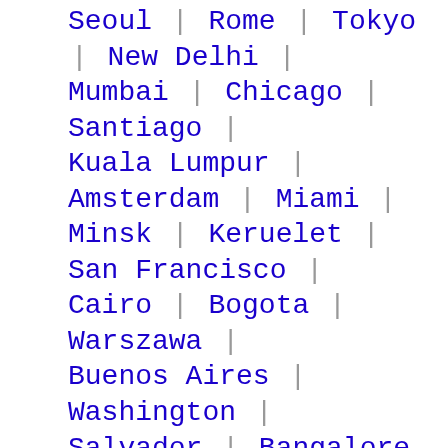Seoul | Rome | Tokyo | New Delhi | Mumbai | Chicago | Santiago | Kuala Lumpur | Amsterdam | Miami | Minsk | Keruelet | San Francisco | Cairo | Bogota | Warszawa | Buenos Aires | Washington | Salvador | Bangalore | Brasilia | Long Island City | D.c | Toronto | Eminoenue | Odessa | San Diego | Fortaleza | Sharjah | Belo Horizonte | Saint Petersburg | Taichung | Vienna | Miami Beach | Bekasi | Medellin | Mexico City | Cali | Lima | Sydney | Tehran | Bandung |